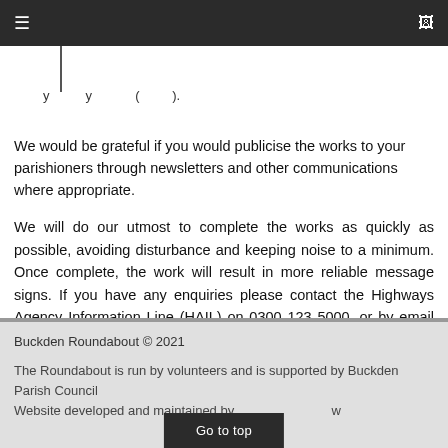≡  [monitor icon]
We would be grateful if you would publicise the works to your parishioners through newsletters and other communications where appropriate.
We will do our utmost to complete the works as quickly as possible, avoiding disturbance and keeping noise to a minimum. Once complete, the work will result in more reliable message signs. If you have any enquiries please contact the Highways Agency Information Line (HAIL) on 0300 123 5000, or by email to: ha_info@highways.gsi.gov.uk.
Buckden Roundabout © 2021
The Roundabout is run by volunteers and is supported by Buckden Parish Council
Website developed and maintained by [w]
Go to top